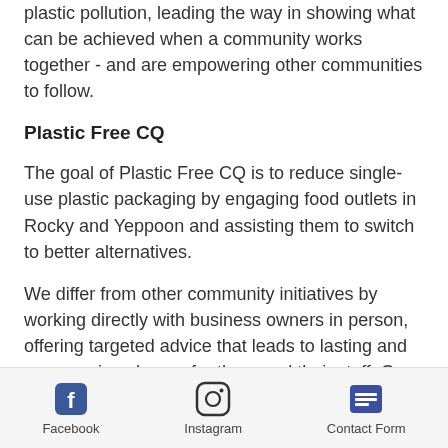plastic pollution, leading the way in showing what can be achieved when a community works together - and are empowering other communities to follow.
Plastic Free CQ
The goal of Plastic Free CQ is to reduce single-use plastic packaging by engaging food outlets in Rocky and Yeppoon and assisting them to switch to better alternatives.
We differ from other community initiatives by working directly with business owners in person, offering targeted advice that leads to lasting and empowering change for them and their staff. Our on-ground coordinators have a wealth of knowledge
Facebook | Instagram | Contact Form